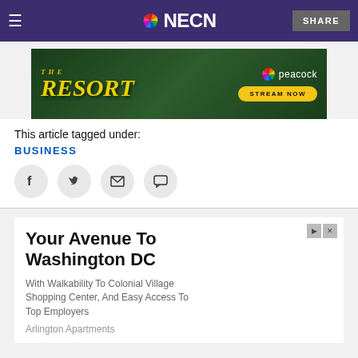NECN
[Figure (advertisement): The Resort - Peacock Stream Now advertisement banner with yellow stylized text on green forest background]
This article tagged under:
BUSINESS
[Figure (infographic): Social sharing icons: Facebook, Twitter, Email, Comment]
[Figure (advertisement): Ad: Your Avenue To Washington DC - With Walkability To Colonial Village Shopping Center, And Easy Access To Top Employers - Arlington Apartments]